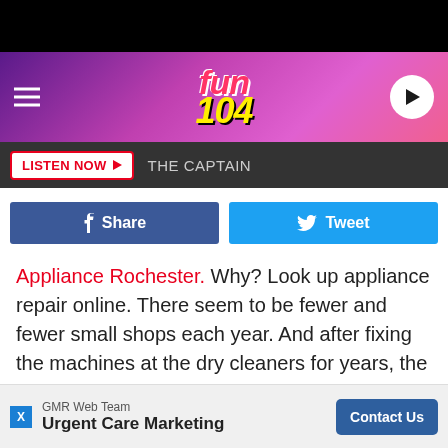[Figure (screenshot): Fun 104 radio station website header with purple/pink gradient background, hamburger menu on left, Fun 104 logo in center, play button on right]
LISTEN NOW  THE CAPTAIN
[Figure (infographic): Social share buttons: Facebook Share (dark blue) and Tweet (light blue)]
Appliance Rochester. Why? Look up appliance repair online. There seem to be fewer and fewer small shops each year. And after fixing the machines at the dry cleaners for years, the father-son team opened shop.
Something you might be surprised to learn is that Mr. Appliance Rochester is a franchise, and while they're looking
[Figure (screenshot): Advertisement banner: GMR Web Team - Urgent Care Marketing with Contact Us button]